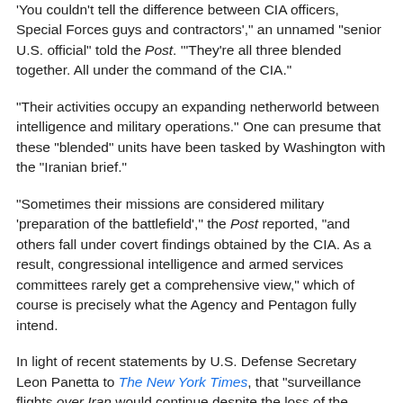'You couldn't tell the difference between CIA officers, Special Forces guys and contractors',' an unnamed "senior U.S. official" told the Post. '"They're all three blended together. All under the command of the CIA."'
"Their activities occupy an expanding netherworld between intelligence and military operations." One can presume that these "blended" units have been tasked by Washington with the "Iranian brief."
"Sometimes their missions are considered military 'preparation of the battlefield',' the Post reported, "and others fall under covert findings obtained by the CIA. As a result, congressional intelligence and armed services committees rarely get a comprehensive view," which of course is precisely what the Agency and Pentagon fully intend.
In light of recent statements by U.S. Defense Secretary Leon Panetta to The New York Times, that "surveillance flights over Iran would continue despite the loss of the drone," reporting by U.S. media stenographers, are blatant misrepresentations of the basic facts surrounding the entire affair (emphasis added).